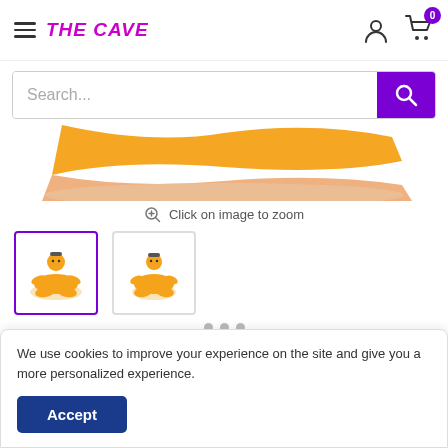THE CAVE
[Figure (screenshot): Search bar with purple search button and magnifying glass icon]
[Figure (photo): Product image showing orange melting figure on white background - bottom portion visible]
Click on image to zoom
[Figure (photo): Two thumbnail images of orange meditating figurine - first selected with purple border]
We use cookies to improve your experience on the site and give you a more personalized experience.